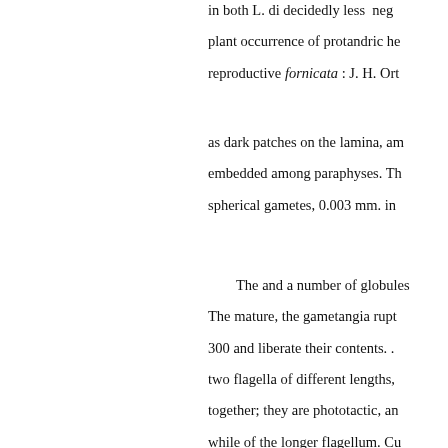in both L. di decidedly less  neg plant occurrence of protandric he reproductive fornicata : J. H. Ort
as dark patches on the lamina, am embedded among paraphyses. Th spherical gametes, 0.003 mm. in
The and a number of globules The mature, the gametangia rupt 300 and liberate their contents. . two flagella of different lengths, together; they are phototactic, an while of the longer flagellum. Cu sexual areas were made in a cult positions in the salts dissolved in secondary sexual by heat, and all females and herma- boiling. Divi between hermaphrodites were ma the chains present a tran- the Ect the males, which are the cultures ending with the females, which s individuals. Microscopical exam has shown that there is as compl in the primary sexual characters a